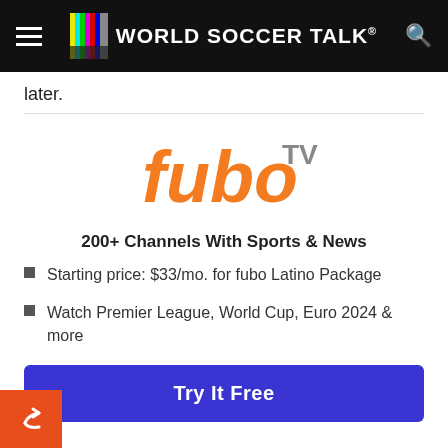World Soccer Talk
later.
[Figure (logo): fuboTV logo — 'fubo' in orange with 'TV' in gray superscript]
200+ Channels With Sports & News
Starting price: $33/mo. for fubo Latino Package
Watch Premier League, World Cup, Euro 2024 & more
Try It Free